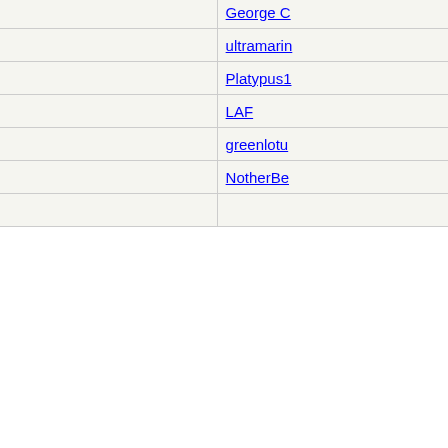| Subject | Author |
| --- | --- |
| Re: Not-really-brag-so-much-as-quirky-anecdote thread | George C |
| Re: Not-really-brag-so-much-as-quirky-anecdote thread | ultramarin |
| Re: Not-really-brag-so-much-as-quirky-anecdote thread | Platypus1 |
| Re: Not-really-brag-so-much-as-quirky-anecdote thread | LAF |
| Re: Not-really-brag-so-much-as-quirky-anecdote thread | greenlotu |
| Re: Not-really-brag-so-much-as-quirky-anecdote thread | NotherBe |
| Re: Not-really-... |  |